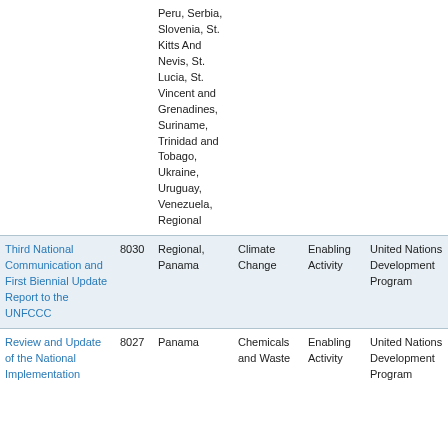| Project Title | ID | Country | Focal Area | Type | Agency |
| --- | --- | --- | --- | --- | --- |
| Peru, Serbia, Slovenia, St. Kitts And Nevis, St. Lucia, St. Vincent and Grenadines, Suriname, Trinidad and Tobago, Ukraine, Uruguay, Venezuela, Regional |  |  |  |  |  |
| Third National Communication and First Biennial Update Report to the UNFCCC | 8030 | Regional, Panama | Climate Change | Enabling Activity | United Nations Development Program |
| Review and Update of the National Implementation... | 8027 | Panama | Chemicals and Waste | Enabling Activity | United Nations Development Program |